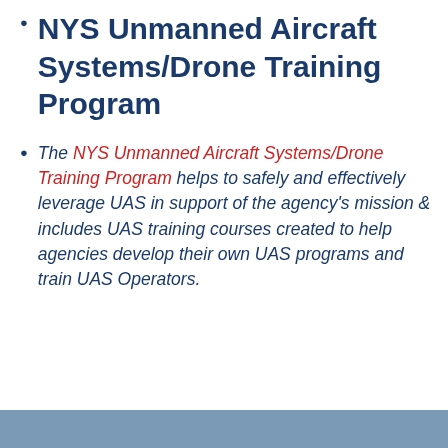NYS Unmanned Aircraft Systems/Drone Training Program
The NYS Unmanned Aircraft Systems/Drone Training Program helps to safely and effectively leverage UAS in support of the agency's mission & includes UAS training courses created to help agencies develop their own UAS programs and train UAS Operators.